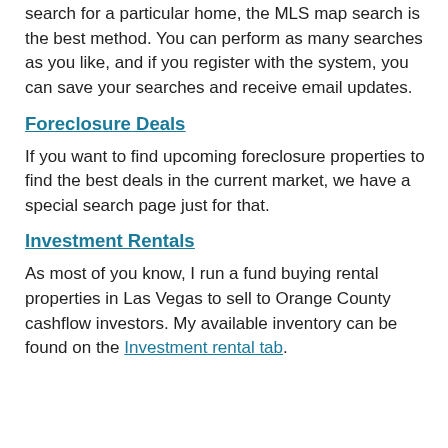search for a particular home, the MLS map search is the best method. You can perform as many searches as you like, and if you register with the system, you can save your searches and receive email updates.
Foreclosure Deals
If you want to find upcoming foreclosure properties to find the best deals in the current market, we have a special search page just for that.
Investment Rentals
As most of you know, I run a fund buying rental properties in Las Vegas to sell to Orange County cashflow investors. My available inventory can be found on the Investment rental tab.